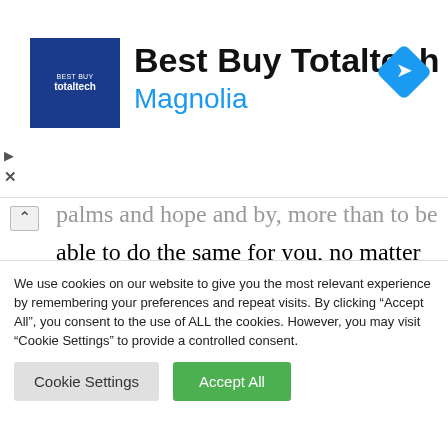[Figure (logo): Best Buy Totaltech advertisement banner with blue square logo, 'Best Buy Totaltech' title in bold black, 'Magnolia' subtitle in blue, and a blue diamond navigation icon on the right]
able to do the same for you, no matter what you're going through.
It's your love that inspires me through the hardest times in my life. Your love makes me feel whole and alive. Holding you in my arms
We use cookies on our website to give you the most relevant experience by remembering your preferences and repeat visits. By clicking "Accept All", you consent to the use of ALL the cookies. However, you may visit "Cookie Settings" to provide a controlled consent.